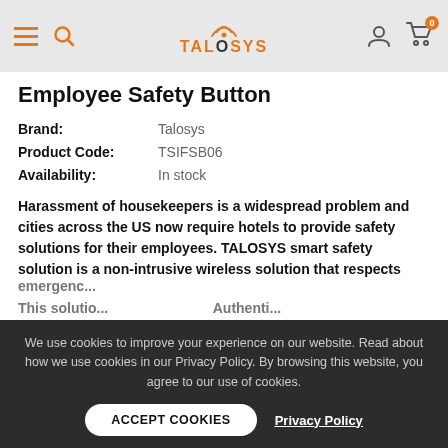TALOSYS navigation bar with hamburger menu, search, logo, user account, and cart (0 items)
Employee Safety Button
| Brand: | Talosys |
| Product Code: | TSIFSB06 |
| Availability: | In stock |
Harassment of housekeepers is a widespread problem and cities across the US now require hotels to provide safety solutions for their employees. TALOSYS smart safety solution is a non-intrusive wireless solution that respects emergenc...
This solutio... Authenti...
We use cookies to improve your experience on our website. Read about how we use cookies in our Privacy Policy. By browsing this website, you agree to our use of cookies.